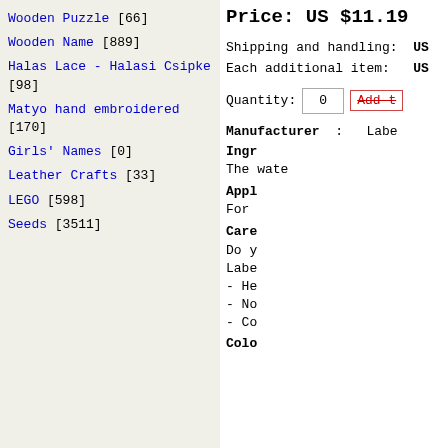Wooden Puzzle [66]
Wooden Name [889]
Halas Lace - Halasi Csipke [98]
Matyo hand embroidered [170]
Girls' Names [0]
Leather Crafts [33]
LEGO [598]
Seeds [3511]
Price: US $11.19
Shipping and handling: US
Each additional item: US
Quantity: 0
Manufacturer : Labe
Ingr
The wate
Appl
For
Care
Do y
Labe
- He
- No
- Co
Colo